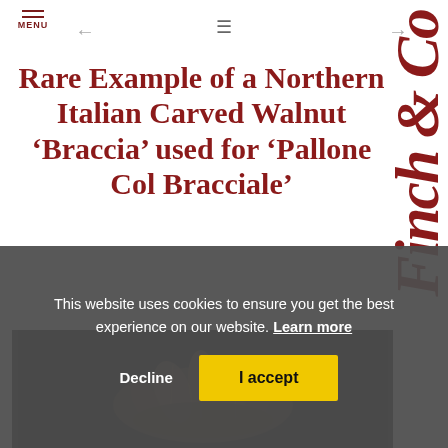MENU | ← | ≡ | →
Rare Example of a Northern Italian Carved Walnut ‘Braccia’ used for ‘Pallone Col Bracciale’
[Figure (photo): Dark background photo showing carved walnut braccia object, partially visible]
This website uses cookies to ensure you get the best experience on our website. Learn more
Decline | I accept